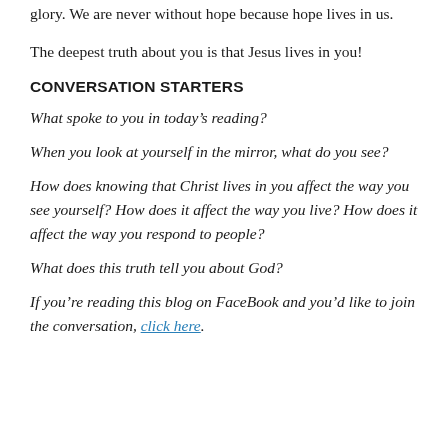glory. We are never without hope because hope lives in us.
The deepest truth about you is that Jesus lives in you!
CONVERSATION STARTERS
What spoke to you in today's reading?
When you look at yourself in the mirror, what do you see?
How does knowing that Christ lives in you affect the way you see yourself? How does it affect the way you live? How does it affect the way you respond to people?
What does this truth tell you about God?
If you’re reading this blog on FaceBook and you’d like to join the conversation, click here.